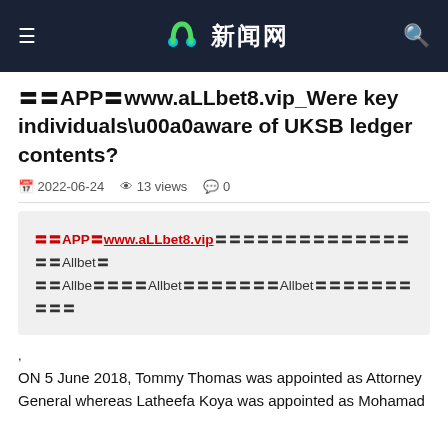新闻网
〓〓APP〓www.aLLbet8.vip_Were key individuals\u00a0aware of UKSB ledger contents?
2022-06-24   13 views   0
〓〓APP〓www.aLLbet8.vip〓〓〓〓〓〓〓〓〓〓〓〓〓〓〓〓Allbet〓〓〓Allbe〓〓〓〓Allbet〓〓〓〓〓〓〓Allbet〓〓〓〓〓〓〓〓〓〓
,
ON 5 June 2018, Tommy Thomas was appointed as Attorney General whereas Latheefa Koya was appointed as Mohamad